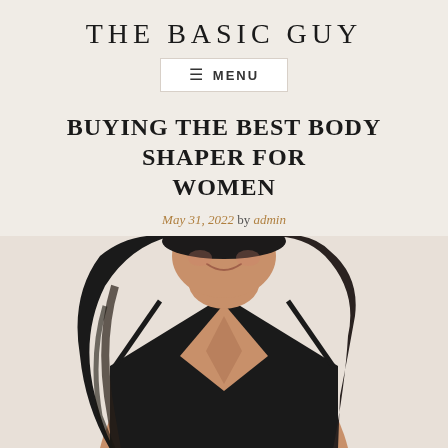THE BASIC GUY
≡ MENU
BUYING THE BEST BODY SHAPER FOR WOMEN
May 31, 2022 by admin
[Figure (photo): Woman wearing a black deep-V body shaper/bodysuit, smiling, with long dark hair, photographed from just below chin to waist level against a light background]